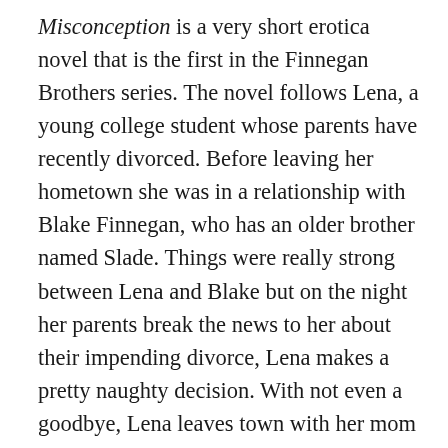Misconception is a very short erotica novel that is the first in the Finnegan Brothers series. The novel follows Lena, a young college student whose parents have recently divorced. Before leaving her hometown she was in a relationship with Blake Finnegan, who has an older brother named Slade. Things were really strong between Lena and Blake but on the night her parents break the news to her about their impending divorce, Lena makes a pretty naughty decision. With not even a goodbye, Lena leaves town with her mom and sister where she hopes to leave her past behind her. Unfortunately a few years later, her father is getting married and she is required to return back to her hometown in order to attend.